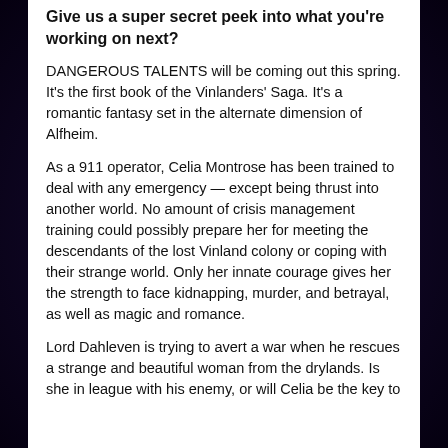Give us a super secret peek into what you're working on next?
DANGEROUS TALENTS will be coming out this spring. It's the first book of the Vinlanders' Saga. It's a romantic fantasy set in the alternate dimension of Alfheim.
As a 911 operator, Celia Montrose has been trained to deal with any emergency — except being thrust into another world. No amount of crisis management training could possibly prepare her for meeting the descendants of the lost Vinland colony or coping with their strange world. Only her innate courage gives her the strength to face kidnapping, murder, and betrayal, as well as magic and romance.
Lord Dahleven is trying to avert a war when he rescues a strange and beautiful woman from the drylands. Is she in league with his enemy, or will Celia be the key to